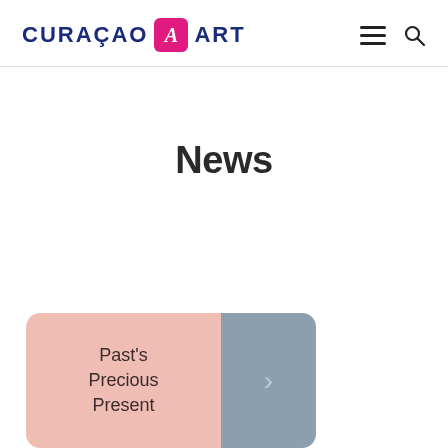CURAÇAO A ART
News
[Figure (illustration): Article card with pink left section reading 'Past's Precious Present' and a steel blue right section with a right arrow, rounded corners at top]